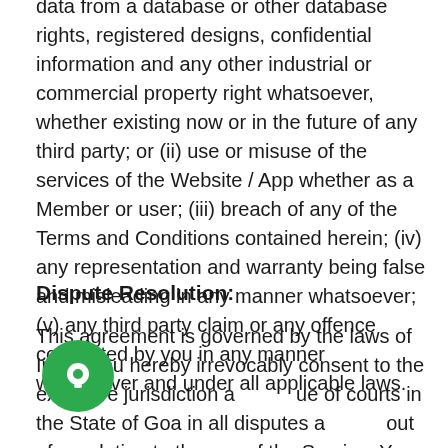data from a database or other database rights, registered designs, confidential information and any other industrial or commercial property right whatsoever, whether existing now or in the future of any third party; or (ii) use or misuse of the services of the Website / App whether as a Member or user; (iii) breach of any of the Terms and Conditions contained herein; (iv) any representation and warranty being false and misleading in any manner whatsoever; (v) any third party claim or any offence committed by you in any manner whatsoever and under all applicable laws.
Dispute Resolution:
This agreement is governed by the laws of India. You hereby irrevocably consent to the exclusive jurisdiction and venue of courts in the State of Goa in all disputes arising out of or relating to the use of the Service. You certify that You have read and understood the above